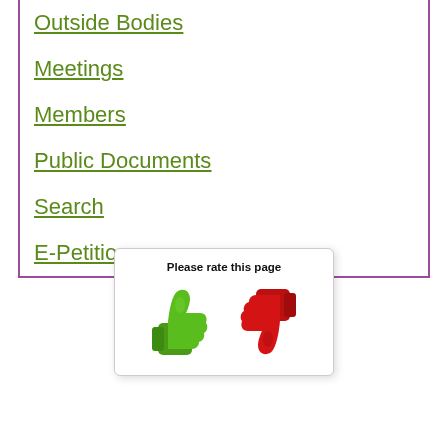Outside Bodies
Meetings
Members
Public Documents
Search
E-Petitions
[Figure (infographic): Please rate this page widget with green thumbs up and red thumbs down icons]